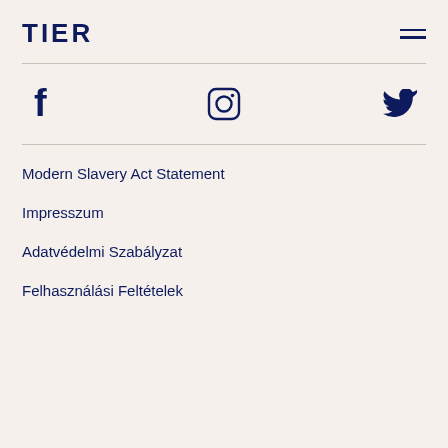TIER
[Figure (illustration): Social media icons: Facebook (f), Instagram (camera), Twitter (bird) arranged horizontally]
Modern Slavery Act Statement
Impresszum
Adatvédelmi Szabályzat
Felhasználási Feltételek